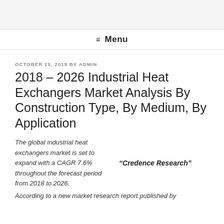≡ Menu
OCTOBER 25, 2018 BY ADMIN
2018 – 2026 Industrial Heat Exchangers Market Analysis By Construction Type, By Medium, By Application
The global industrial heat exchangers market is set to expand with a CAGR 7.6% throughout the forecast period from 2018 to 2026. "Credence Research"
According to a new market research report published by